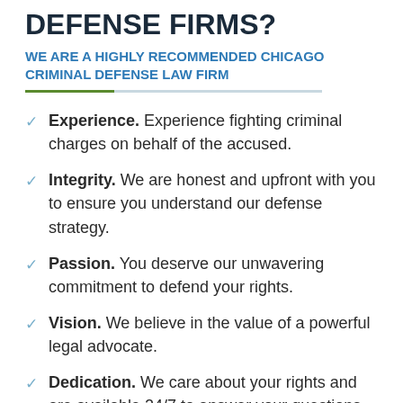DEFENSE FIRMS?
WE ARE A HIGHLY RECOMMENDED CHICAGO CRIMINAL DEFENSE LAW FIRM
Experience. Experience fighting criminal charges on behalf of the accused.
Integrity. We are honest and upfront with you to ensure you understand our defense strategy.
Passion. You deserve our unwavering commitment to defend your rights.
Vision. We believe in the value of a powerful legal advocate.
Dedication. We care about your rights and are available 24/7 to answer your questions.